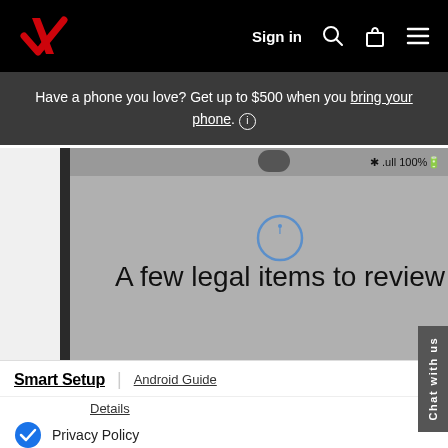Verizon – Sign in
Have a phone you love? Get up to $500 when you bring your phone. ⓘ
[Figure (screenshot): Smartphone screen showing 'A few legal items to review' with a blue info icon circle at the top, on a gray background. Phone status bar shows 100% battery.]
Smart Setup | Android Guide
Details
Privacy Policy
Details